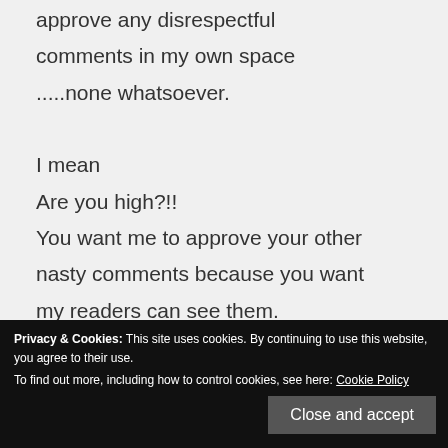approve any disrespectful comments in my own space .....none whatsoever.

I mean
Are you high?!!
You want me to approve your other nasty comments because you want my readers can see them.
Why?? To provoke drama?!
To gain attention for yourself??!
Privacy & Cookies: This site uses cookies. By continuing to use this website, you agree to their use. To find out more, including how to control cookies, see here: Cookie Policy
Close and accept